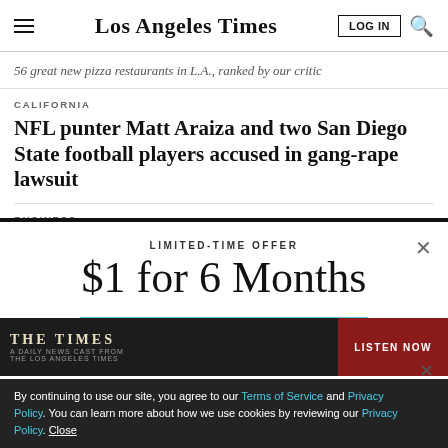Los Angeles Times
56 great new pizza restaurants in L.A., ranked by our critic
CALIFORNIA
NFL punter Matt Araiza and two San Diego State football players accused in gang-rape lawsuit
BUSINESS
LIMITED-TIME OFFER
$1 for 6 Months
SUBSCRIBE NOW
By continuing to use our site, you agree to our Terms of Service and Privacy Policy. You can learn more about how we use cookies by reviewing our Privacy Policy. Close